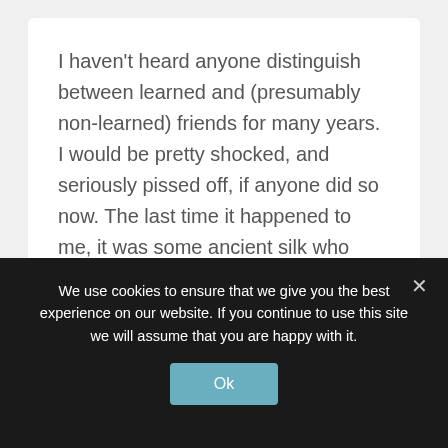I haven't heard anyone distinguish between learned and (presumably non-learned) friends for many years. I would be pretty shocked, and seriously pissed off, if anyone did so now. The last time it happened to me, it was some ancient silk who was slapped down pretty sharply by the High Court judge in question for what she saw as discourtesy. Quite right too! He had to apologise and I had to try not to smirk. What I can never figuer out is whether to be annoyed or please
We use cookies to ensure that we give you the best experience on our website. If you continue to use this site we will assume that you are happy with it.